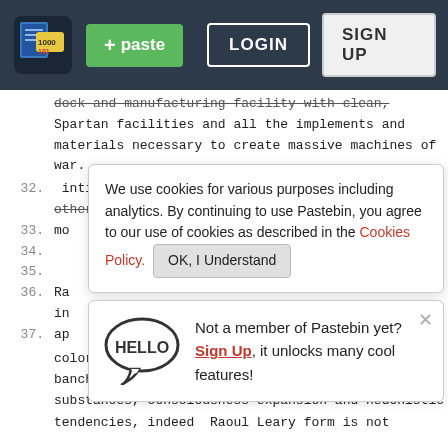Pastebin navigation bar with logo, +paste button, LOGIN and SIGN UP buttons
dock and manufacturing facility with clean, Spartan facilities and all the implements and materials necessary to create massive machines of war.
32. intimacies : all aspects of the military, helping others improve themselves  strategy  righteous cause
We use cookies for various purposes including analytics. By continuing to use Pastebin, you agree to our use of cookies as described in the Cookies Policy. OK, I Understand
33. mo
34.
35.
Not a member of Pastebin yet? Sign Up, it unlocks many cool features!
36. Ra in
37. ap
colored mist  Raoul Leary is the  embodiment of banchô-Anon's passion for mind altering substances, consciousness expansion and hedonistic tendencies, indeed  Raoul Leary form is not